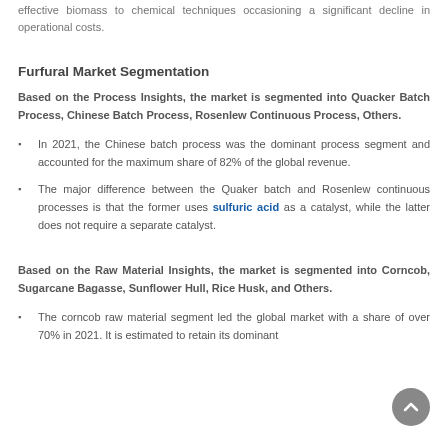effective biomass to chemical techniques occasioning a significant decline in operational costs.
Furfural Market Segmentation
Based on the Process Insights, the market is segmented into Quacker Batch Process, Chinese Batch Process, Rosenlew Continuous Process, Others.
In 2021, the Chinese batch process was the dominant process segment and accounted for the maximum share of 82% of the global revenue.
The major difference between the Quaker batch and Rosenlew continuous processes is that the former uses sulfuric acid as a catalyst, while the latter does not require a separate catalyst.
Based on the Raw Material Insights, the market is segmented into Corncob, Sugarcane Bagasse, Sunflower Hull, Rice Husk, and Others.
The corncob raw material segment led the global market with a share of over 70% in 2021. It is estimated to retain its dominant